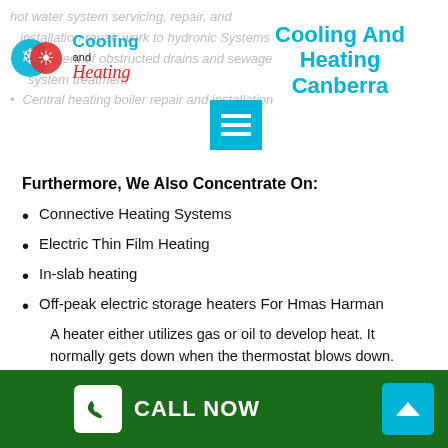[Figure (logo): Cooling and Heating logo with snowflake/sun icon, blue 'Cooling' text, red italic 'Heating' text]
Cooling And Heating Canberra
hot water system servicing, repair, and installation repair work to hydronic Systems
Treatment of obstructed drains and sewage system treatment
Central heating boiler repair and installation
Furthermore, We Also Concentrate On:
Connective Heating Systems
Electric Thin Film Heating
In-slab heating
Off-peak electric storage heaters For Hmas Harman
A heater either utilizes gas or oil to develop heat. It normally gets down when the thermostat blows down.
CALL NOW